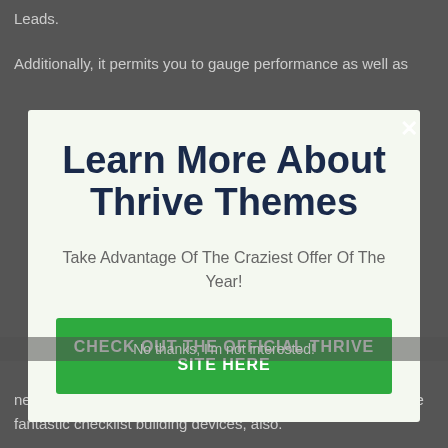Leads.
Additionally, it permits you to gauge performance as well as
Learn More About Thrive Themes
Take Advantage Of The Craziest Offer Of The Year!
CHECK OUT THE OFFICIAL THRIVE SITE HERE
No thanks, I'm not interested!
networks, or interacting on their own self web site. They make fantastic checklist building devices, also.